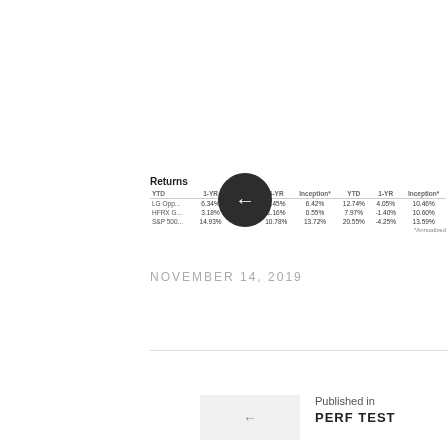| Returns | YTD | 1-YR | 3-YR | 5-YR | Inception* | YTD | 1-YR |  | Inception* |
| --- | --- | --- | --- | --- | --- | --- | --- | --- | --- |
| LG Opp... |  | 6.34% | 8.13% | 5.45% | 6.42% | 12.74% | 4.05% |  | 10.46% |
| HFRX G... |  | 3.18% | 3.16% | 1.16% | 0.55% | 7.97% | -1.40% |  | 10.60% |
| S&P 500... |  | 14.93% | 14.91% | 10.78% | 13.72% | 20.55% | -4.25% |  | 13.59% |
*Annualized
NOVEMBER 14, 2019
Published in
PERF TEST